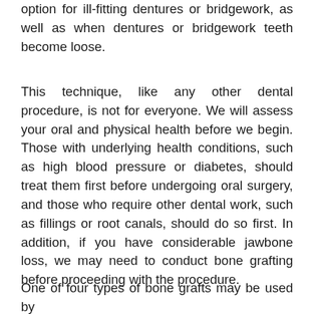option for ill-fitting dentures or bridgework, as well as when dentures or bridgework teeth become loose.
This technique, like any other dental procedure, is not for everyone. We will assess your oral and physical health before we begin. Those with underlying health conditions, such as high blood pressure or diabetes, should treat them first before undergoing oral surgery, and those who require other dental work, such as fillings or root canals, should do so first. In addition, if you have considerable jawbone loss, we may need to conduct bone grafting before proceeding with the procedure.
One of four types of bone grafts may be used by